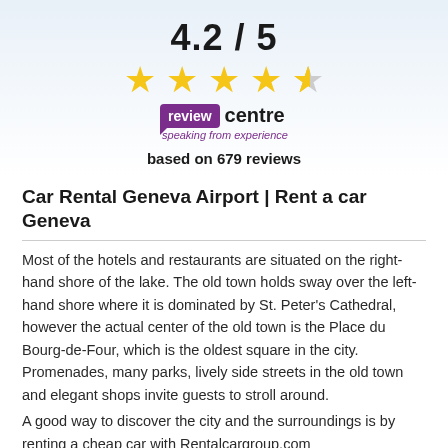[Figure (infographic): Rating display showing 4.2/5 score with four full gold stars and one half star, Review Centre logo with purple badge and tagline 'speaking from experience', and text 'based on 679 reviews']
Car Rental Geneva Airport | Rent a car Geneva
Most of the hotels and restaurants are situated on the right-hand shore of the lake. The old town holds sway over the left-hand shore where it is dominated by St. Peter's Cathedral, however the actual center of the old town is the Place du Bourg-de-Four, which is the oldest square in the city. Promenades, many parks, lively side streets in the old town and elegant shops invite guests to stroll around.
A good way to discover the city and the surroundings is by renting a cheap car with Rentalcargroup.com